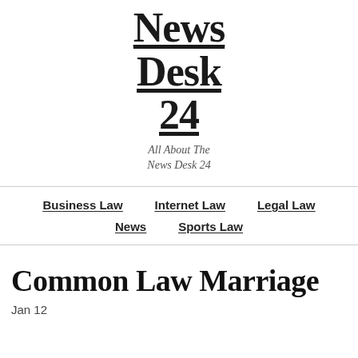News Desk 24
All About The News Desk 24
Business Law  Internet Law  Legal Law  News  Sports Law
Common Law Marriage
Jan 12